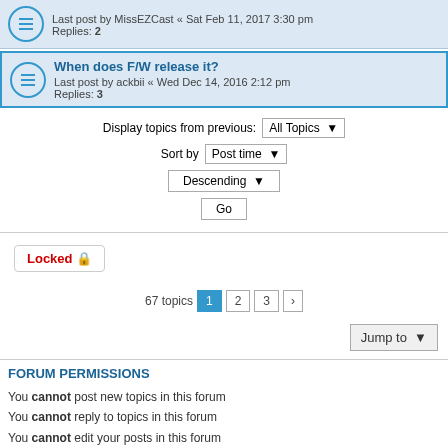Last post by MissEZCast « Sat Feb 11, 2017 3:30 pm
Replies: 2
When does F/W release it?
Last post by ackbii « Wed Dec 14, 2016 2:12 pm
Replies: 3
Display topics from previous: All Topics ▼
Sort by Post time ▼
Descending ▼
Go
Locked 🔒
67 topics 1 2 3 ›
Jump to ▼
FORUM PERMISSIONS
You cannot post new topics in this forum
You cannot reply to topics in this forum
You cannot edit your posts in this forum
You cannot delete your posts in this forum
You cannot post attachments in this forum
Home · Board index | Contact us · The team · ≡
Powered by phpBB® Forum Software © phpBB Limited
American English Language Pack © Maël Soucaze